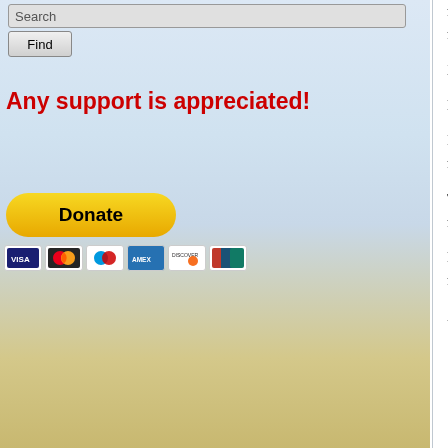[Figure (screenshot): Search bar UI element at top of left sidebar]
[Figure (screenshot): Find button UI element below search bar]
Any support is appreciated!
[Figure (screenshot): PayPal Donate button in yellow/gold color]
[Figure (screenshot): Payment method icons: VISA, Mastercard, Maestro, American Express, Discover, UnionPay]
most toxic substances on the planet. W contaminating 7,000 square miles of it strategic decision, not just for the Viet hundreds of thousands of deaths and c
History, in all its moral primness, has m
Much to my amazement, I learned the international organizations, many of th
I say, let's keep this awareness alive a continued to wage its chemical warfare innocence. Top military leaders, whose aware of its toxicity.
This raises what I choose to call The Q short-term military strategy ahead of m question: Why are military and politica their decisions, that is to say, the cons win? Why are they so indifferent? Why
Pondering these questions was how I stopped or failed to stop the communis would still be dying, newborns would s and so much more).
As the War Legacies Project notes on the jungle, living off the land, by — wh